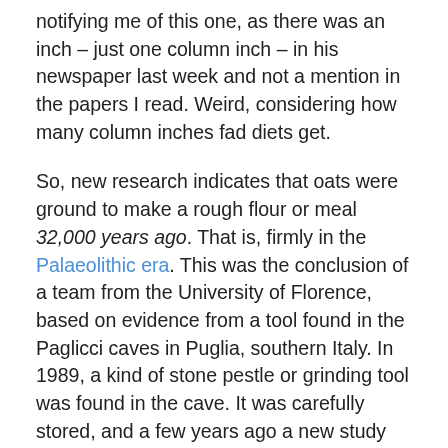notifying me of this one, as there was an inch – just one column inch – in his newspaper last week and not a mention in the papers I read. Weird, considering how many column inches fad diets get.
So, new research indicates that oats were ground to make a rough flour or meal 32,000 years ago. That is, firmly in the Palaeolithic era. This was the conclusion of a team from the University of Florence, based on evidence from a tool found in the Paglicci caves in Puglia, southern Italy. In 1989, a kind of stone pestle or grinding tool was found in the cave. It was carefully stored, and a few years ago a new study began. The researchers were able to isolate and analyse starch residues from the tool. There were five types identified but the most common was Avena barbata, a species of wild oat. Another grass grain was a form of millet.